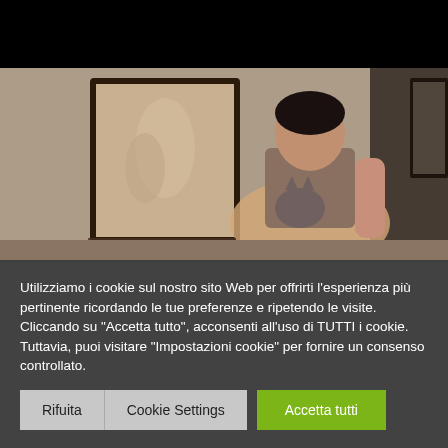9886-FBF7C-2D193BD
[Figure (photo): A tattooed woman sitting cross-legged holding a cat, with framed artwork on the wall behind her, in a dark artistic studio setting.]
Utilizziamo i cookie sul nostro sito Web per offrirti l'esperienza più pertinente ricordando le tue preferenze e ripetendo le visite. Cliccando su "Accetta tutto", acconsenti all'uso di TUTTI i cookie. Tuttavia, puoi visitare "Impostazioni cookie" per fornire un consenso controllato.
Rifuita
Cookie Settings
Accetta tutti